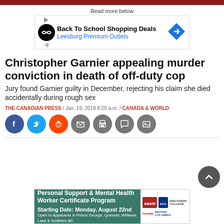Read more below
[Figure (screenshot): Advertisement banner: Back To School Shopping Deals - Leesburg Premium Outlets]
Christopher Garnier appealing murder conviction in death of off-duty cop
Jury found Garnier guilty in December, rejecting his claim she died accidentally during rough sex
THE CANADIAN PRESS / Jan. 19, 2018 8:20 a.m. / CANADA & WORLD
[Figure (infographic): Social media share icons: Facebook, Twitter, Reddit, Email, Print, Comment, Image]
[Figure (screenshot): Advertisement: Personal Support & Mental Health Worker Certificate Program. Starting Date: Monday, August 22nd. Open to Applicants in Prince George, Quesnel, Williams Lake & Smithers BC. Logos: Amari, Discovery College, Canada, British Columbia.]